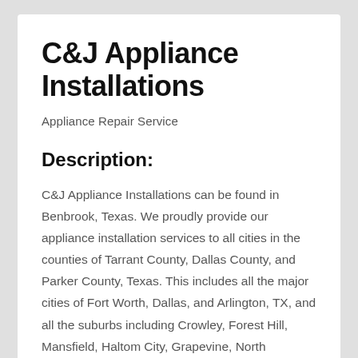C&J Appliance Installations
Appliance Repair Service
Description:
C&J Appliance Installations can be found in Benbrook, Texas. We proudly provide our appliance installation services to all cities in the counties of Tarrant County, Dallas County, and Parker County, Texas. This includes all the major cities of Fort Worth, Dallas, and Arlington, TX, and all the suburbs including Crowley, Forest Hill, Mansfield, Haltom City, Grapevine, North Richland Hills, and more. Our company certified technicians install all kitchen appliances including ovens, cooktops